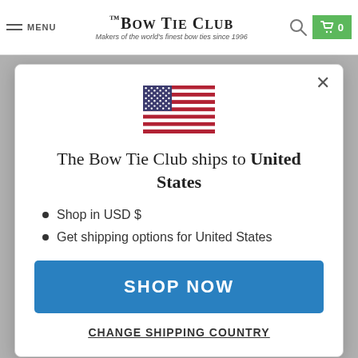MENU | THE BOW TIE CLUB — Makers of the world's finest bow ties since 1996
[Figure (illustration): US flag emoji/icon centered in modal]
The Bow Tie Club ships to United States
Shop in USD $
Get shipping options for United States
SHOP NOW
CHANGE SHIPPING COUNTRY
Kersey Bow Tie